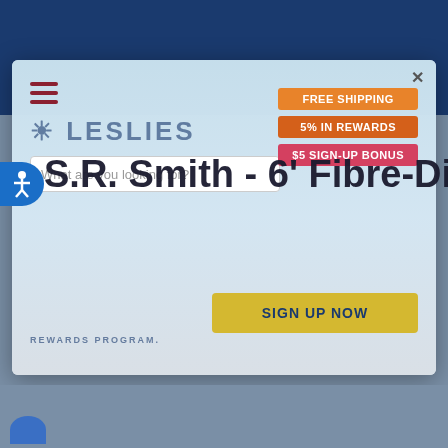[Figure (screenshot): A screenshot of the Leslies pool supply website with a popup/modal overlay showing a rewards program sign-up prompt. The modal contains a hamburger menu, search bar, free shipping badge, 5% in rewards badge, $5 sign-up bonus badge, a SIGN UP NOW button, and REWARDS PROGRAM text. Behind the modal, a partially visible page title reads: S.R. Smith - 6' Fibre-Dive Diving B... An accessibility button appears on the left side.]